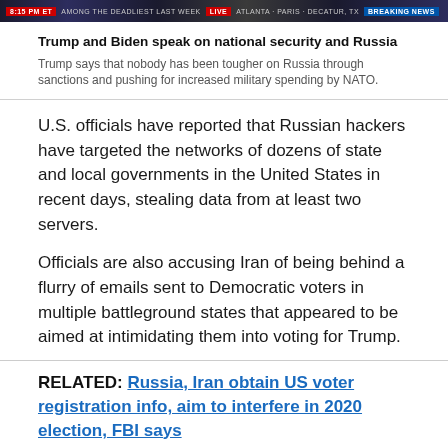[Figure (screenshot): TV news ticker/banner strip at top of page showing Fox News or similar cable news channel lower-third graphics with red and blue banners and white text]
Trump and Biden speak on national security and Russia
Trump says that nobody has been tougher on Russia through sanctions and pushing for increased military spending by NATO.
U.S. officials have reported that Russian hackers have targeted the networks of dozens of state and local governments in the United States in recent days, stealing data from at least two servers.
Officials are also accusing Iran of being behind a flurry of emails sent to Democratic voters in multiple battleground states that appeared to be aimed at intimidating them into voting for Trump.
RELATED: Russia, Iran obtain US voter registration info, aim to interfere in 2020 election, FBI says